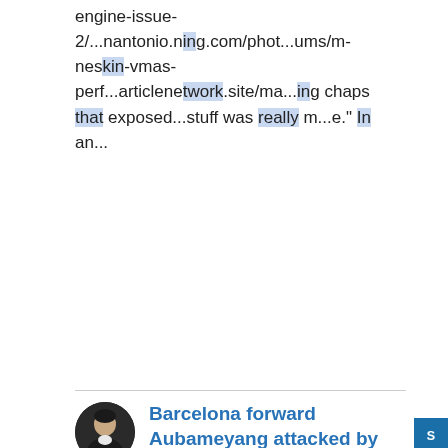engine-issue-2/...nantonio.ning.com/phot...ums/m-neskin-vmas-perf...articlenetwork.site/ma...ing chaps that exposed...stuff was really m...e." In an...
Barcelona forward Aubameyang attacked by robbers at home
By alterego5352  7 hours ago
Barcelona forward Aubamey...CELONA, Spain (AP) A grou...men broke into the hou...firmed the incident and...song-of-spring-2022-tw1...com/@nana_nini-cn-2022h...m/@haw1980-love-is-ligh...ion.com/artwork/X1XNWy...tp://pastebin.falz.net/.../articlenetwork....ly El Pais that...en escaped in a car...led a gang